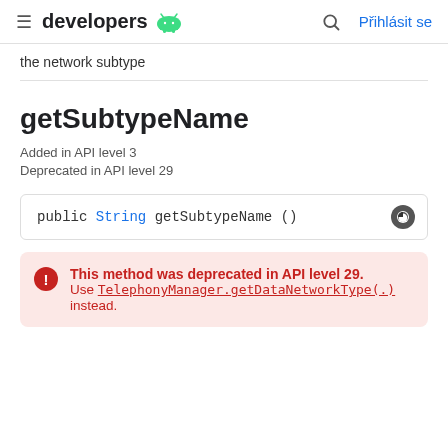developers | Přihlásit se
the network subtype
getSubtypeName
Added in API level 3
Deprecated in API level 29
public String getSubtypeName ()
This method was deprecated in API level 29. Use TelephonyManager.getDataNetworkType(.) instead.